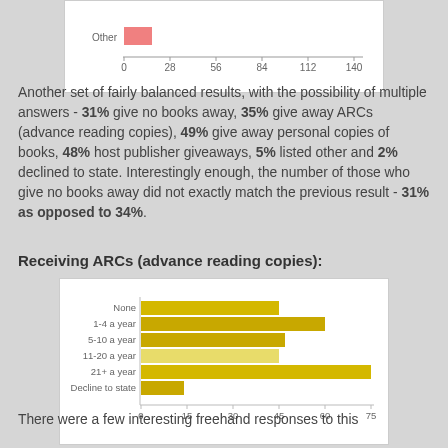[Figure (bar-chart): Partial chart (cropped top)]
Another set of fairly balanced results, with the possibility of multiple answers - 31% give no books away, 35% give away ARCs (advance reading copies), 49% give away personal copies of books, 48% host publisher giveaways, 5% listed other and 2% declined to state. Interestingly enough, the number of those who give no books away did not exactly match the previous result - 31% as opposed to 34%.
Receiving ARCs (advance reading copies):
[Figure (bar-chart): Receiving ARCs (advance reading copies)]
There were a few interesting freehand responses to this